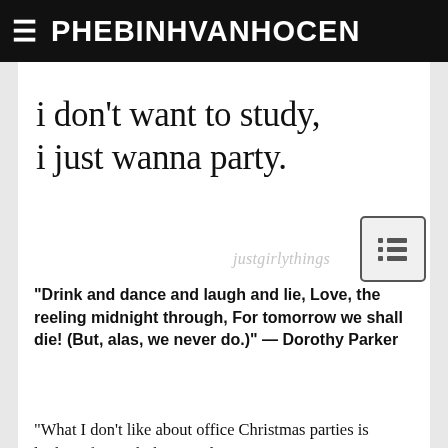PHEBINHVANHOCEN
[Figure (illustration): White card with large serif text reading 'i don't want to study, i just wanna party.' with a 'justgirlythings' watermark in light gray cursive]
“Drink and dance and laugh and lie, Love, the reeling midnight through, For tomorrow we shall die! (But, alas, we never do.)” — Dorothy Parker
“What I don’t like about office Christmas parties is looking for a job the next day.” —